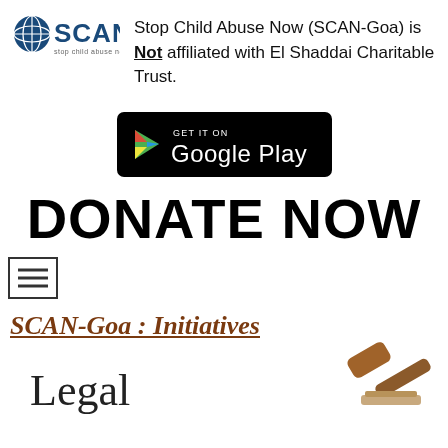[Figure (logo): SCAN - Stop Child Abuse Now logo with globe icon]
Stop Child Abuse Now (SCAN-Goa) is Not affiliated with El Shaddai Charitable Trust.
[Figure (screenshot): Get it on Google Play badge]
DONATE NOW
[Figure (illustration): Hamburger menu icon]
SCAN-Goa : Initiatives
Legal